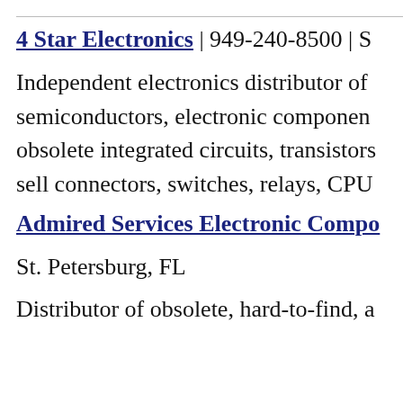4 Star Electronics | 949-240-8500 | S
Independent electronics distributor of semiconductors, electronic components, obsolete integrated circuits, transistors, sell connectors, switches, relays, CPU
Admired Services Electronic Compo
St. Petersburg, FL
Distributor of obsolete, hard-to-find, a